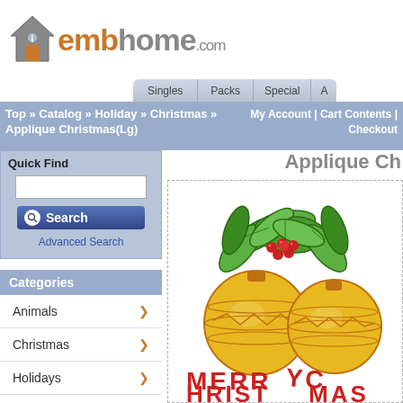[Figure (logo): embhome.com logo with house icon, orange 'emb' and gray 'home.com' text]
Singles | Packs | Special | A...
Top » Catalog » Holiday » Christmas » Applique Christmas(Lg)  |  My Account | Cart Contents | Checkout
Quick Find
Advanced Search
Categories
Animals
Christmas
Holidays
Flowers
Applique Ch...
[Figure (illustration): Christmas ornament embroidery design showing two golden ornament balls with holly leaves and red berries on top, with 'MERRY CHRISTMAS' text partially visible at bottom]